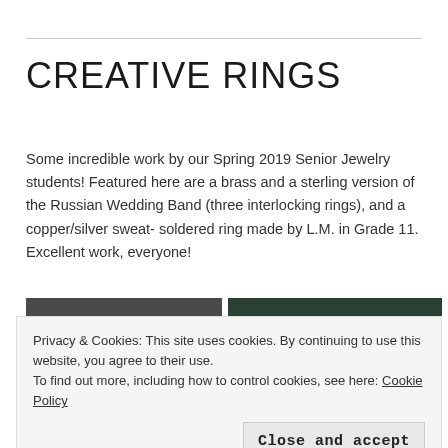CREATIVE RINGS
Some incredible work by our Spring 2019 Senior Jewelry students! Featured here are a brass and a sterling version of the Russian Wedding Band (three interlocking rings), and a copper/silver sweat-soldered ring made by L.M. in Grade 11. Excellent work, everyone!
[Figure (photo): Two photos side by side showing rings/hands on dark fabric backgrounds, partially visible]
Privacy & Cookies: This site uses cookies. By continuing to use this website, you agree to their use.
To find out more, including how to control cookies, see here: Cookie Policy
Close and accept